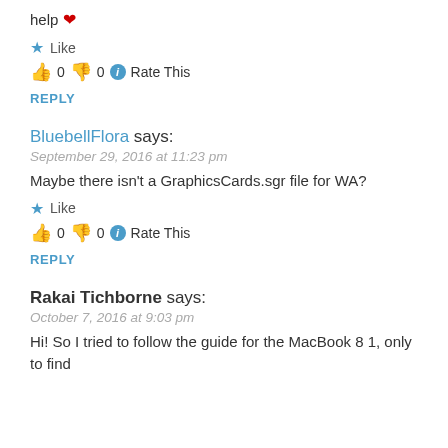help ❤
★ Like
👍 0 👎 0 ℹ Rate This
REPLY
BluebellFlora says:
September 29, 2016 at 11:23 pm
Maybe there isn't a GraphicsCards.sgr file for WA?
★ Like
👍 0 👎 0 ℹ Rate This
REPLY
Rakai Tichborne says:
October 7, 2016 at 9:03 pm
Hi! So I tried to follow the guide for the MacBook 8 1, only to find